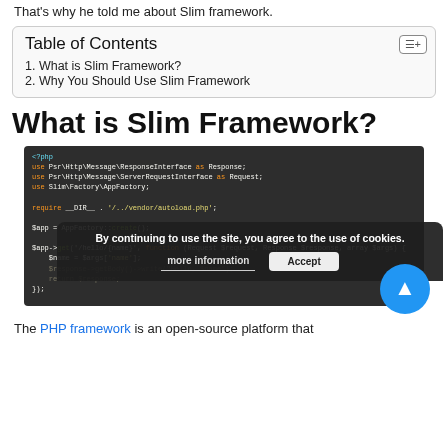That's why he told me about Slim framework.
1. What is Slim Framework?
2. Why You Should Use Slim Framework
What is Slim Framework?
[Figure (screenshot): Code block showing PHP Slim Framework example code on dark background, with a cookie consent banner overlay at the bottom.]
The PHP framework is an open-source platform that